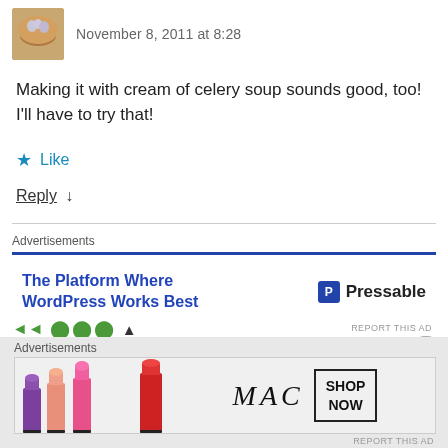November 8, 2011 at 8:28
Making it with cream of celery soup sounds good, too! I'll have to try that!
★ Like
Reply ↓
Advertisements
[Figure (screenshot): Pressable advertisement banner: 'The Platform Where WordPress Works Best' with Pressable logo]
REPORT THIS AD
Advertisements
[Figure (photo): MAC cosmetics advertisement showing lipsticks and Shop Now button]